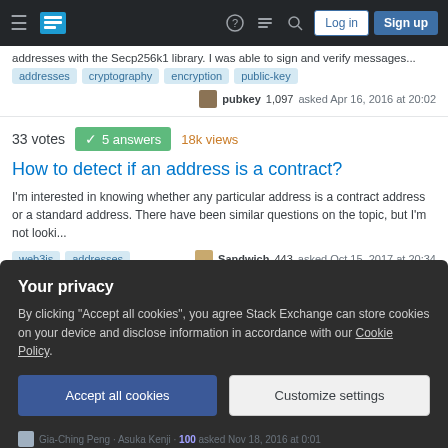Stack Exchange navigation bar with Log in and Sign up buttons
addresses with the Secp256k1 library. I was able to sign and verify messages...
addresses | cryptography | encryption | public-key
pubkey 1,097 asked Apr 16, 2016 at 20:02
33 votes | 5 answers | 18k views
How to detect if an address is a contract?
I'm interested in knowing whether any particular address is a contract address or a standard address. There have been similar questions on the topic, but I'm not looki...
web3js | addresses
Sandwich 443 asked Oct 15, 2017 at 20:34
Your privacy
By clicking "Accept all cookies", you agree Stack Exchange can store cookies on your device and disclose information in accordance with our Cookie Policy.
Accept all cookies
Customize settings